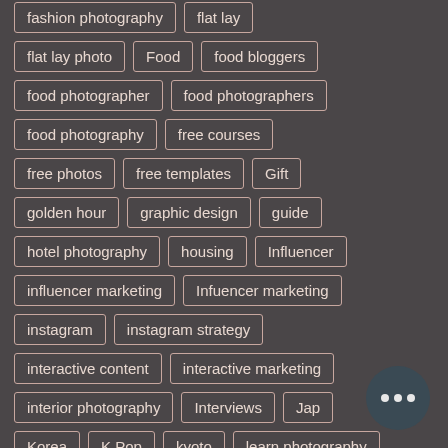fashion photography
flat lay
flat lay photo
Food
food bloggers
food photographer
food photographers
food photography
free courses
free photos
free templates
Gift
golden hour
graphic design
guide
hotel photography
housing
Influencer
influencer marketing
Infuencer marketing
instagram
instagram strategy
interactive content
interactive marketing
interior photography
Interviews
Jap
Korea
K Pop
kyoto
learn photography